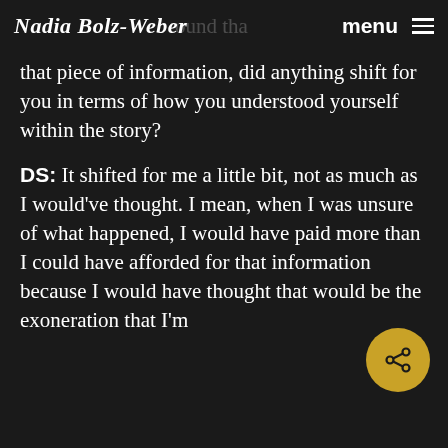Nadia Bolz-Weber  menu ≡
that piece of information, did anything shift for you in terms of how you understood yourself within the story?
DS: It shifted for me a little bit, not as much as I would've thought. I mean, when I was unsure of what happened, I would have paid more than I could have afforded for that information because I would have thought that would be the exoneration that I'm